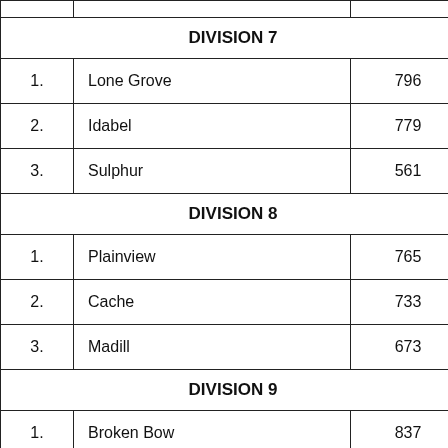|  |  |  |
| --- | --- | --- |
|  | DIVISION 7 |  |
| 1. | Lone Grove | 796 |
| 2. | Idabel | 779 |
| 3. | Sulphur | 561 |
|  | DIVISION 8 |  |
| 1. | Plainview | 765 |
| 2. | Cache | 733 |
| 3. | Madill | 673 |
|  | DIVISION 9 |  |
| 1. | Broken Bow | 837 |
| 2. | Chickasha | 719 |
| 3. | Tecumseh | 718 |